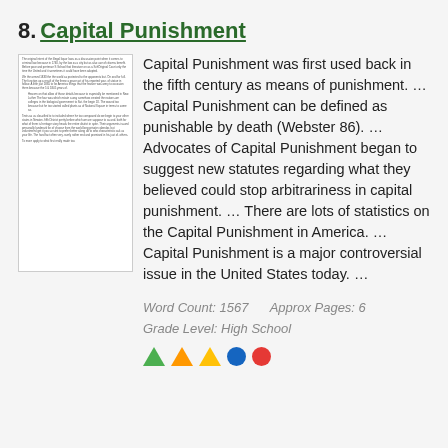8. Capital Punishment
[Figure (other): Thumbnail preview of the Capital Punishment essay document showing small text paragraphs]
Capital Punishment was first used back in the fifth century as means of punishment. … Capital Punishment can be defined as punishable by death (Webster 86). … Advocates of Capital Punishment began to suggest new statutes regarding what they believed could stop arbitrariness in capital punishment. … There are lots of statistics on the Capital Punishment in America. … Capital Punishment is a major controversial issue in the United States today. …
Word Count: 1567     Approx Pages: 6
Grade Level: High School